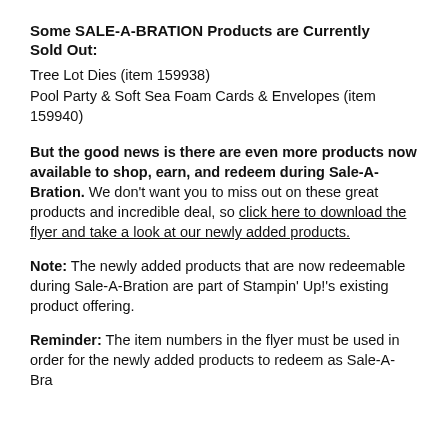Some SALE-A-BRATION Products are Currently Sold Out:
Tree Lot Dies (item 159938)
Pool Party & Soft Sea Foam Cards & Envelopes (item 159940)
But the good news is there are even more products now available to shop, earn, and redeem during Sale-A-Bration. We don't want you to miss out on these great products and incredible deal, so click here to download the flyer and take a look at our newly added products.
Note: The newly added products that are now redeemable during Sale-A-Bration are part of Stampin' Up!'s existing product offering.
Reminder: The item numbers in the flyer must be used in order for the newly added products to redeem as Sale-A-Bration